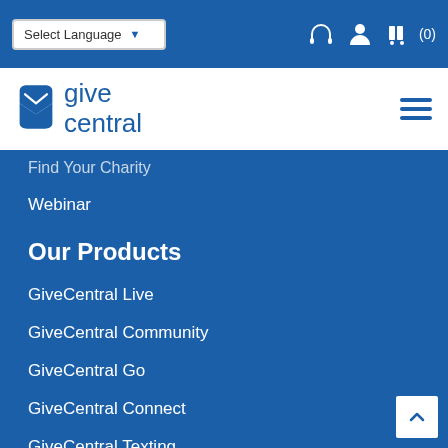Select Language | (0)
[Figure (logo): GiveCentral logo with blue icon and text]
Find Your Charity
Webinar
Our Products
GiveCentral Live
GiveCentral Community
GiveCentral Go
GiveCentral Connect
GiveCentral Texting
Our Services
Event Support
Capital Campaigns & Annual Appeals
Apps & Integrations